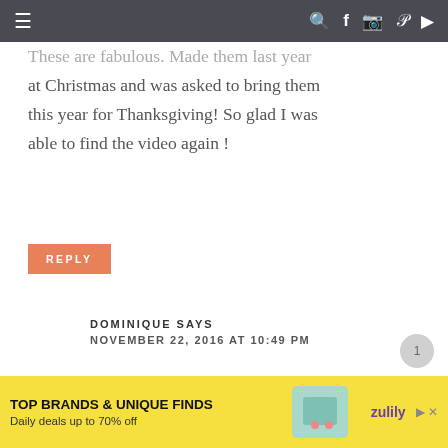≡  🔍 f 📷 𝗽 ▶
These are fabulous. Made them last year at Christmas and was asked to bring them this year for Thanksgiving! So glad I was able to find the video again !
REPLY
DOMINIQUE SAYS
NOVEMBER 22, 2016 AT 10:49 PM
Girl thank you sooooo much I was looking for a recipe and you came through in a
[Figure (other): Advertisement banner: TOP BRANDS & UNIQUE FINDS — Daily deals up to 70% off — Zulily]